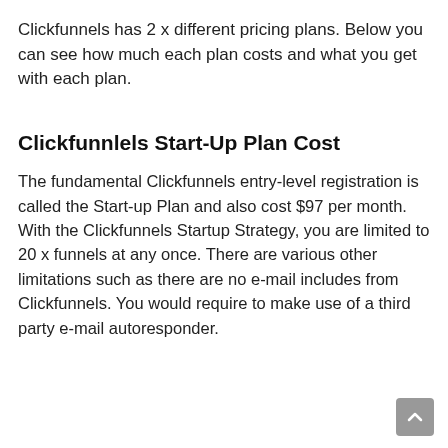Clickfunnels has 2 x different pricing plans. Below you can see how much each plan costs and what you get with each plan.
Clickfunnlels Start-Up Plan Cost
The fundamental Clickfunnels entry-level registration is called the Start-up Plan and also cost $97 per month. With the Clickfunnels Startup Strategy, you are limited to 20 x funnels at any once. There are various other limitations such as there are no e-mail includes from Clickfunnels. You would require to make use of a third party e-mail autoresponder.